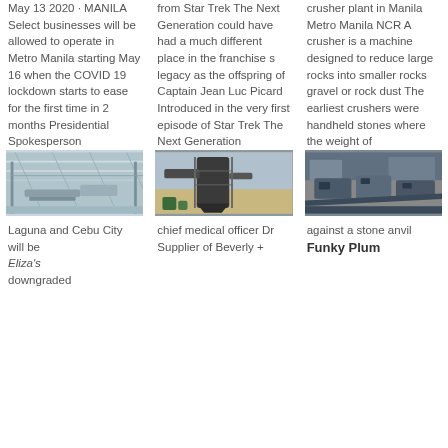May 13 2020 · MANILA Select businesses will be allowed to operate in Metro Manila starting May 16 when the COVID 19 lockdown starts to ease for the first time in 2 months Presidential Spokesperson
from Star Trek The Next Generation could have had a much different place in the franchise s legacy as the offspring of Captain Jean Luc Picard Introduced in the very first episode of Star Trek The Next Generation
crusher plant in Manila Metro Manila NCR A crusher is a machine designed to reduce large rocks into smaller rocks gravel or rock dust The earliest crushers were handheld stones where the weight of
[Figure (photo): Industrial warehouse or crushing plant interior with conveyor equipment]
[Figure (photo): Industrial dust collector or filtration equipment outdoors]
[Figure (photo): Crusher or mining machinery equipment viewed from above]
Laguna and Cebu City will be
chief medical officer Dr Supplier of Beverly +
against a stone anvil
Funky Plum